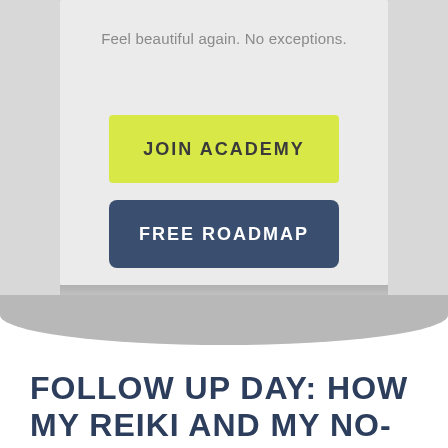Feel beautiful again. No exceptions.
JOIN ACADEMY
FREE ROADMAP
FOLLOW UP DAY: HOW MY REIKI AND MY NO-